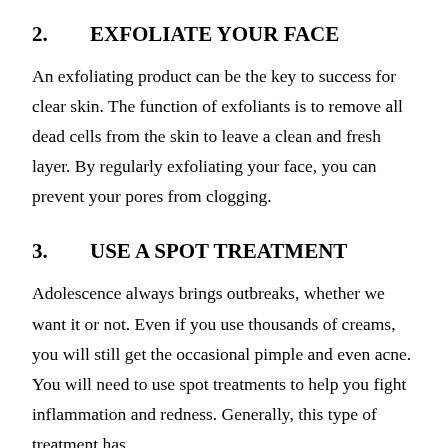2.    EXFOLIATE YOUR FACE
An exfoliating product can be the key to success for clear skin. The function of exfoliants is to remove all dead cells from the skin to leave a clean and fresh layer. By regularly exfoliating your face, you can prevent your pores from clogging.
3.    USE A SPOT TREATMENT
Adolescence always brings outbreaks, whether we want it or not. Even if you use thousands of creams, you will still get the occasional pimple and even acne. You will need to use spot treatments to help you fight inflammation and redness. Generally, this type of treatment has